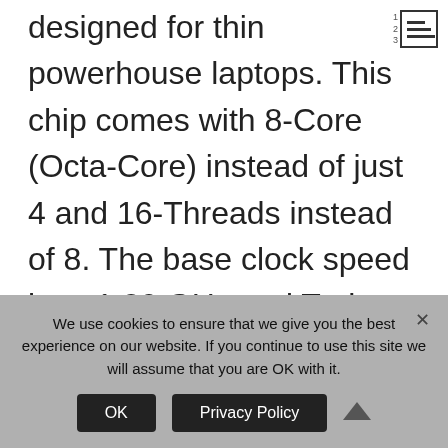designed for thin powerhouse laptops. This chip comes with 8-Core (Octa-Core) instead of just 4 and 16-Threads instead of 8. The base clock speed is at 1.80 GHz and Turbo Boost speed can reach up to 4.30 GHz.
Ryzen 7 5700U is one of the fastest U-class CPUs of 2021
We use cookies to ensure that we give you the best experience on our website. If you continue to use this site we will assume that you are OK with it.